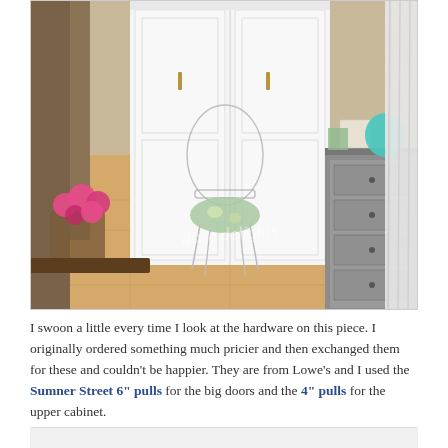[Figure (photo): Interior room photo showing white built-in wardrobe/cabinet with gold hardware pulls, an acrylic ghost chair with floral cushion, pink flower bouquet, hardwood floor, gray dresser on the right, and white curtains. Watermark reads 'dixie delights' in script.]
I swoon a little every time I look at the hardware on this piece. I originally ordered something much pricier and then exchanged them for these and couldn't be happier. They are from Lowe's and I used the Sumner Street 6" pulls for the big doors and the 4" pulls for the upper cabinet.